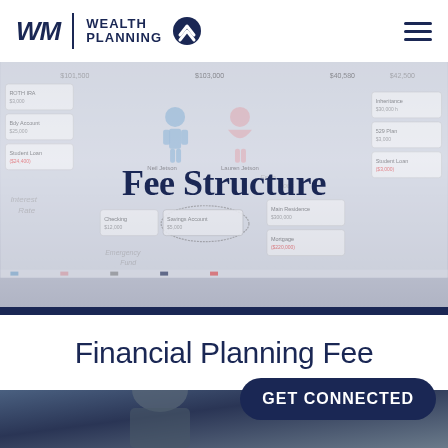WM | WEALTH PLANNING
[Figure (infographic): Financial planning diagram showing a family wealth map with figures labeled Neil Jetson and Lauren Jetson, with various accounts including Roth IRA, Savings Account, Checking, Main Residence, Mortgage, Student Loan, 529 Plan, and handwritten annotations. Overlaid with large text 'Fee Structure'.]
Financial Planning Fee
[Figure (photo): Photo of a person in a professional setting, partially visible at the bottom of the page]
GET CONNECTED